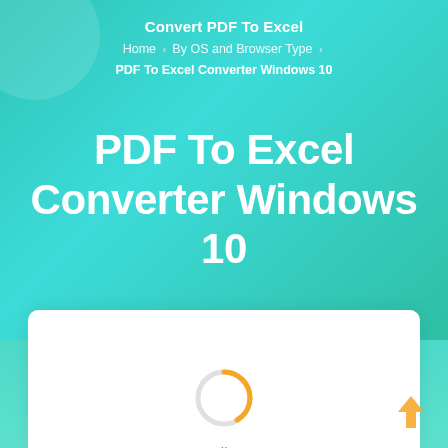Convert PDF To Excel
Home › By OS and Browser Type › PDF To Excel Converter Windows 10
PDF To Excel Converter Windows 10
[Figure (screenshot): Loading spinner (orange arc circle) with 'Loading...' text below, inside a white card panel]
[Figure (illustration): Orange upward arrow icon in bottom-right corner]